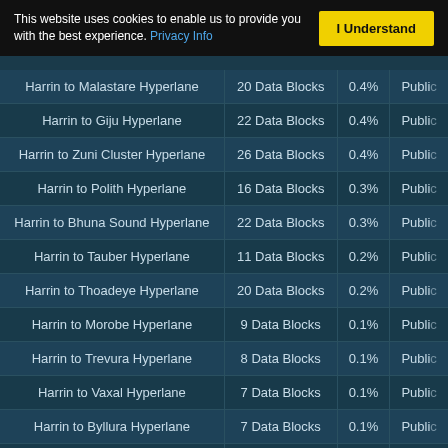This website uses cookies to enable us to provide you with the best experience. Privacy Info | I Understand
| Route | Size | Percentage | Access |
| --- | --- | --- | --- |
| Harrin to Malastare Hyperlane | 20 Data Blocks | 0.4% | Public |
| Harrin to Giju Hyperlane | 22 Data Blocks | 0.4% | Public |
| Harrin to Zuni Cluster Hyperlane | 26 Data Blocks | 0.4% | Public |
| Harrin to Polith Hyperlane | 16 Data Blocks | 0.3% | Public |
| Harrin to Bhuna Sound Hyperlane | 22 Data Blocks | 0.3% | Public |
| Harrin to Tauber Hyperlane | 11 Data Blocks | 0.2% | Public |
| Harrin to Thoadeye Hyperlane | 20 Data Blocks | 0.2% | Public |
| Harrin to Morobe Hyperlane | 9 Data Blocks | 0.1% | Public |
| Harrin to Trevura Hyperlane | 8 Data Blocks | 0.1% | Public |
| Harrin to Vaxal Hyperlane | 7 Data Blocks | 0.1% | Public |
| Harrin to Byllura Hyperlane | 7 Data Blocks | 0.1% | Public |
| Harrin to Azurbani Hyperlane | 3 Data Blocks | 0.1% | Public |
| Harrin to Derra Hyperlane | 3 Data Blocks | 0% | Public |